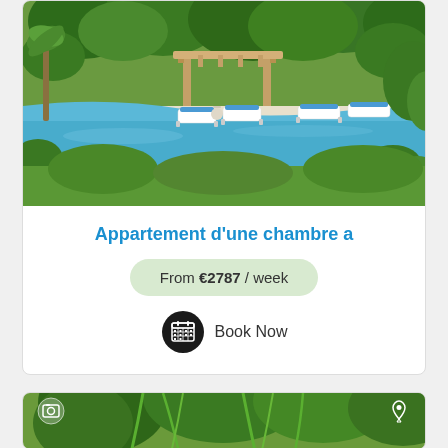[Figure (photo): Swimming pool with blue lounge chairs surrounded by lush Mediterranean garden and trees]
Appartement d'une chambre a
From €2787 / week
Book Now
[Figure (photo): Villa exterior with large trees with hanging foliage, pink building visible behind, tropical garden setting]